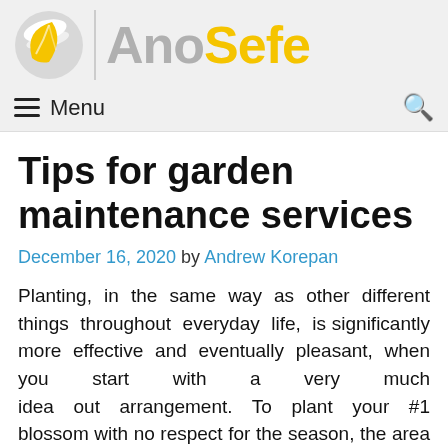AnoSefe
Tips for garden maintenance services
December 16, 2020 by Andrew Korepan
Planting, in the same way as other different things throughout everyday life, is significantly more effective and eventually pleasant, when you start with a very much idea out arrangement. To plant your #1 blossom with no respect for the season, the area of seeds or for essential soil support